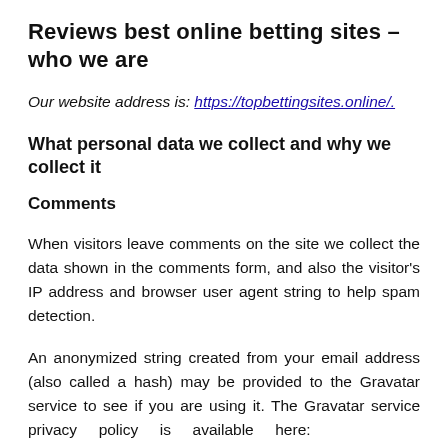Reviews best online betting sites – who we are
Our website address is: https://topbettingsites.online/.
What personal data we collect and why we collect it
Comments
When visitors leave comments on the site we collect the data shown in the comments form, and also the visitor's IP address and browser user agent string to help spam detection.
An anonymized string created from your email address (also called a hash) may be provided to the Gravatar service to see if you are using it. The Gravatar service privacy policy is available here: